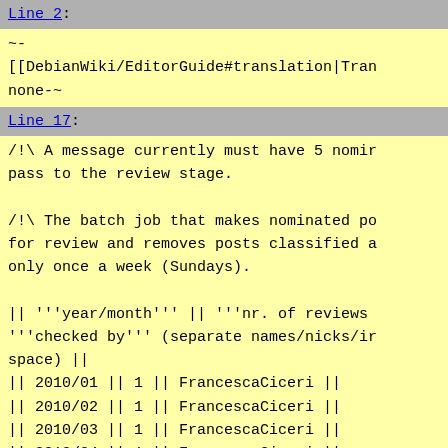Line 2:
~-
[[DebianWiki/EditorGuide#translation|Tran
none-~
Line 17:
/!\ A message currently must have 5 nomin
pass to the review stage.

/!\ The batch job that makes nominated po
for review and removes posts classified a
only once a week (Sundays).

|| '''year/month''' || '''nr. of reviews
'''checked by''' (separate names/nicks/in
space) ||
|| 2010/01 || 1 || FrancescaCiceri ||
|| 2010/02 || 1 || FrancescaCiceri ||
|| 2010/03 || 1 || FrancescaCiceri ||
|| 2010/04 || 1 || FrancescaCiceri ||